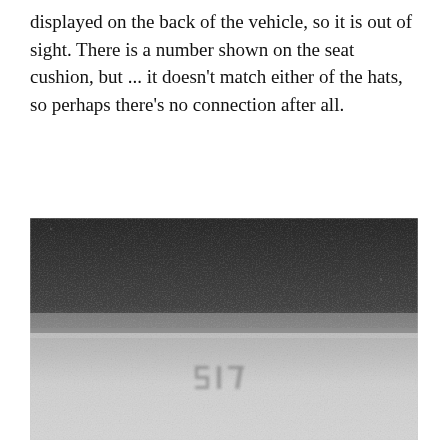displayed on the back of the vehicle, so it is out of sight. There is a number shown on the seat cushion, but ... it doesn't match either of the hats, so perhaps there's no connection after all.
[Figure (photo): A black and white photograph showing a blurred scene. The upper portion is dark grey/black with a grainy texture, and the lower portion is a lighter grey-white, with faint dark markings or numbers (possibly '517' or similar) visible in the lower-center area.]